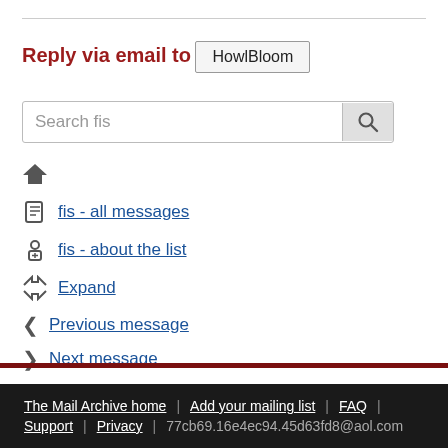Reply via email to
HowlBloom
Search fis
The Mail Archive home
fis - all messages
fis - about the list
Expand
Previous message
Next message
The Mail Archive home | Add your mailing list | FAQ | Support | Privacy | 77cb69.16e4ec94.45d63fd8@aol.com